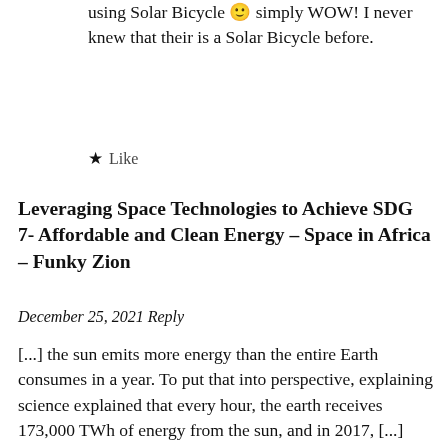using Solar Bicycle 🙂 simply WOW! I never knew that their is a Solar Bicycle before.
★ Like
Leveraging Space Technologies to Achieve SDG 7- Affordable and Clean Energy – Space in Africa – Funky Zion
December 25, 2021 Reply
[...] the sun emits more energy than the entire Earth consumes in a year. To put that into perspective, explaining science explained that every hour, the earth receives 173,000 TWh of energy from the sun, and in 2017, [...]